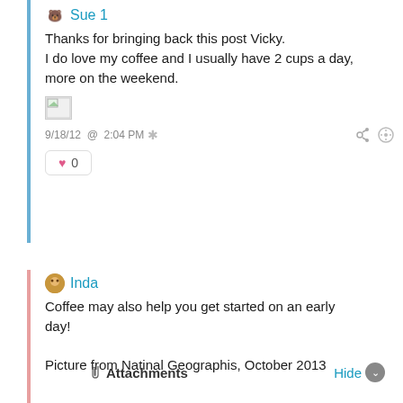Sue 1
Thanks for bringing back this post Vicky.
I do love my coffee and I usually have 2 cups a day, more on the weekend.
[Figure (photo): Broken/missing image placeholder]
9/18/12 @ 2:04 PM
0
Inda
Coffee may also help you get started on an early day!

Picture from Natinal Geographis, October 2013
Attachments
Hide